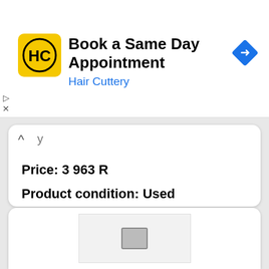[Figure (screenshot): Hair Cuttery advertisement banner with yellow HC logo, text 'Book a Same Day Appointment' and 'Hair Cuttery' in blue, and a blue navigation diamond icon on the right. Small play and close controls on the left.]
Price: 3 963 R
Product condition: Used
See details
[Figure (photo): Partial view of a product card showing a small electronic device or component on a white background.]